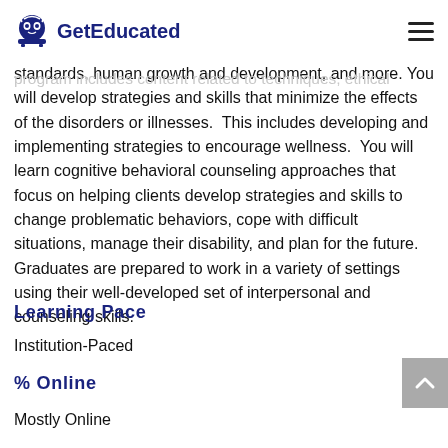GetEducated
reflects these important areas that counselors need to know when working with individuals with disabilities. The program includes content related to techniques, ethical standards, human growth and development, and more. You will develop strategies and skills that minimize the effects of the disorders or illnesses. This includes developing and implementing strategies to encourage wellness. You will learn cognitive behavioral counseling approaches that focus on helping clients develop strategies and skills to change problematic behaviors, cope with difficult situations, manage their disability, and plan for the future. Graduates are prepared to work in a variety of settings using their well-developed set of interpersonal and counseling skills.
Learning Pace
Institution-Paced
% Online
Mostly Online